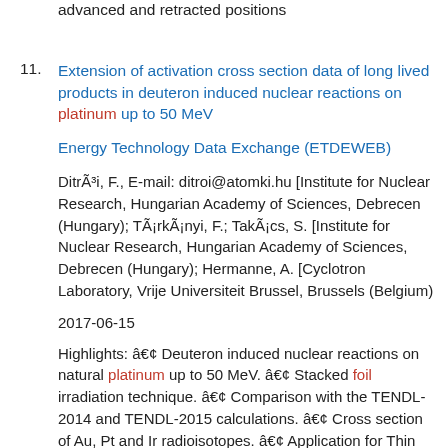advanced and retracted positions
11. Extension of activation cross section data of long lived products in deuteron induced nuclear reactions on platinum up to 50 MeV
Energy Technology Data Exchange (ETDEWEB)
DitrÃ³i, F., E-mail: ditroi@atomki.hu [Institute for Nuclear Research, Hungarian Academy of Sciences, Debrecen (Hungary); TÃ¡rkÃ¡nyi, F.; TakÃ¡cs, S. [Institute for Nuclear Research, Hungarian Academy of Sciences, Debrecen (Hungary); Hermanne, A. [Cyclotron Laboratory, Vrije Universiteit Brussel, Brussels (Belgium)
2017-06-15
Highlights: â€¢ Deuteron induced nuclear reactions on natural platinum up to 50 MeV. â€¢ Stacked foil irradiation technique. â€¢ Comparison with the TENDL-2014 and TENDL-2015 calculations. â€¢ Cross section of Au, Pt and Ir radioisotopes. â€¢ Application for Thin Layer Activation (TLA). - Abstract: In the frame of a systematical study of light ion induced nuclear reactions on platinum, activation cross sections for deuteron induced reactions were investigated. Excitation functions